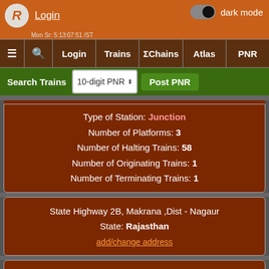[Figure (screenshot): App logo with stylized R in circle]
Login  dark mode
≡  🔍  Login  Trains  ΣChains  Atlas  PNR
Search Trains  10-digit PNR  Post PNR
Type of Station: Junction
Number of Platforms: 3
Number of Halting Trains: 58
Number of Originating Trains: 1
Number of Terminating Trains: 1
State Highway 2B, Makrana ,Dist - Nagaur
State: Rajasthan
add/change address
Elevation: 426 m above sea level
Zone: NWR/North Western
Division: Jodhpur
No Recent News for MKN/Makrana Junction
Nearby Stations in the News